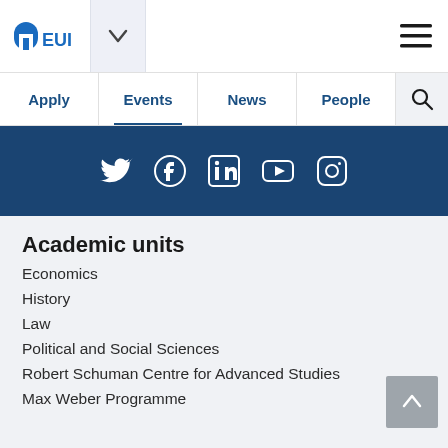[Figure (logo): EUI logo - European University Institute blue arch building icon with text EUI]
Apply  Events  News  People  [search]
[Figure (infographic): Social media icons bar on dark blue background: Twitter, Facebook, LinkedIn, YouTube, Instagram]
Academic units
Economics
History
Law
Political and Social Sciences
Robert Schuman Centre for Advanced Studies
Max Weber Programme